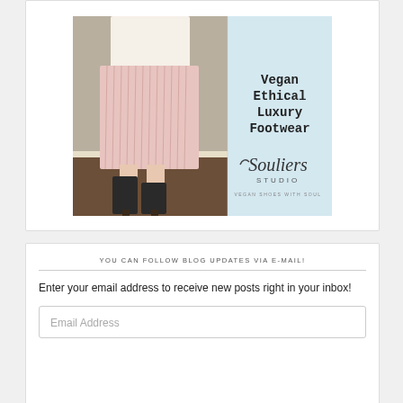[Figure (advertisement): Souliers Studio advertisement showing a woman wearing a pink pleated skirt and black ankle boots, with text 'Vegan Ethical Luxury Footwear' and the Souliers Studio logo with tagline 'vegan shoes with soul']
YOU CAN FOLLOW BLOG UPDATES VIA E-MAIL!
Enter your email address to receive new posts right in your inbox!
Email Address